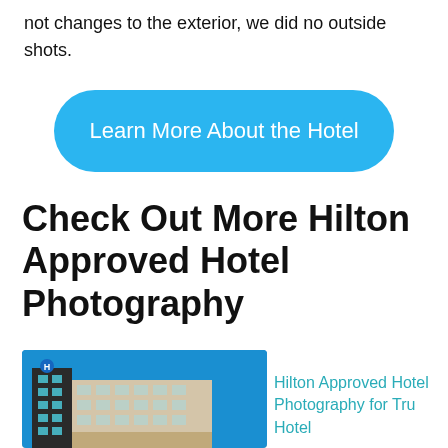not changes to the exterior, we did no outside shots.
Learn More About the Hotel
Check Out More Hilton Approved Hotel Photography
[Figure (photo): Exterior photo of a Hilton/Tru Hotel building against a blue sky, showing multiple floors with windows and the hotel signage.]
Hilton Approved Hotel Photography for Tru Hotel